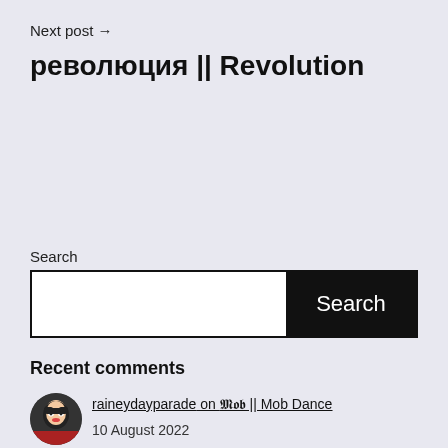Next post →
революция || Revolution
Search
Search (search box with input and button)
Recent comments
raineydayparade on 𝕸𝖔𝖇 || Mob Dance
10 August 2022